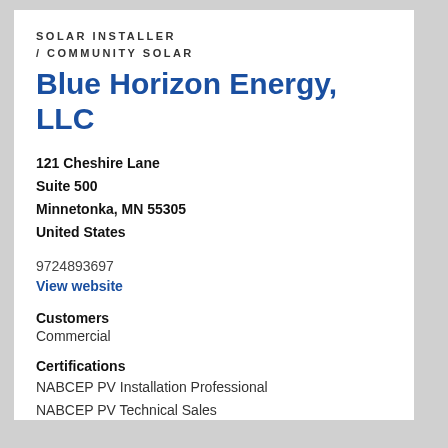SOLAR INSTALLER / COMMUNITY SOLAR
Blue Horizon Energy, LLC
121 Cheshire Lane
Suite 500
Minnetonka, MN 55305
United States
9724893697
View website
Customers
Commercial
Certifications
NABCEP PV Installation Professional
NABCEP PV Technical Sales